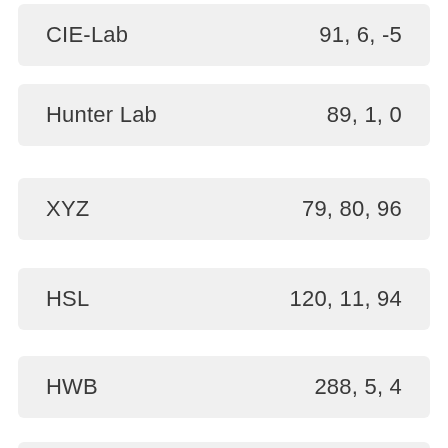| Color Space | Values |
| --- | --- |
| CIE-Lab | 91, 6, -5 |
| Hunter Lab | 89, 1, 0 |
| XYZ | 79, 80, 96 |
| HSL | 120, 11, 94 |
| HWB | 288, 5, 4 |
| HSV | 288, 6, 95 |